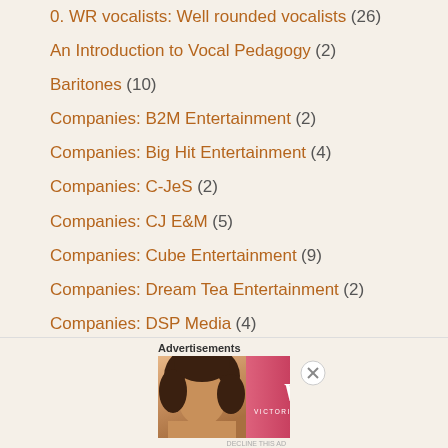0. WR vocalists: Well rounded vocalists (26)
An Introduction to Vocal Pedagogy (2)
Baritones (10)
Companies: B2M Entertainment (2)
Companies: Big Hit Entertainment (4)
Companies: C-JeS (2)
Companies: CJ E&M (5)
Companies: Cube Entertainment (9)
Companies: Dream Tea Entertainment (2)
Companies: DSP Media (4)
Companies: FNC Entertainment (3)
Companies: H2Media (1)
Advertisements
[Figure (photo): Victoria's Secret advertisement banner showing a model, VS logo, 'Shop The Collection' text, and a 'Shop Now' button]